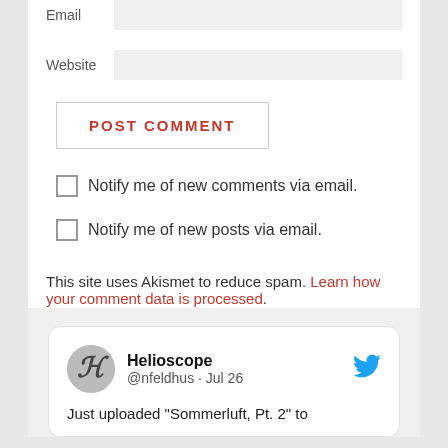Email
Website
POST COMMENT
Notify me of new comments via email.
Notify me of new posts via email.
This site uses Akismet to reduce spam. Learn how your comment data is processed.
[Figure (screenshot): Tweet card from Helioscope (@nfeldhus) dated Jul 26, reading 'Just uploaded "Sommerluft, Pt. 2" to', with Twitter bird logo.]